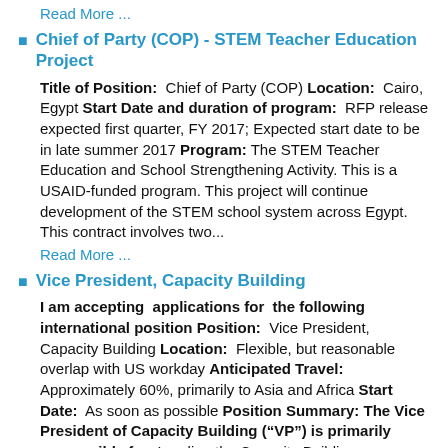Read More ...
Chief of Party (COP) - STEM Teacher Education Project
Title of Position: Chief of Party (COP) Location: Cairo, Egypt Start Date and duration of program: RFP release expected first quarter, FY 2017; Expected start date to be in late summer 2017 Program: The STEM Teacher Education and School Strengthening Activity. This is a USAID-funded program. This project will continue development of the STEM school system across Egypt. This contract involves two...
Read More ...
Vice President, Capacity Building
I am accepting applications for the following international position Position: Vice President, Capacity Building Location: Flexible, but reasonable overlap with US workday Anticipated Travel: Approximately 60%, primarily to Asia and Africa Start Date: As soon as possible Position Summary: The Vice President of Capacity Building (“VP”) is primarily responsible for: Leading the Capacity Building...